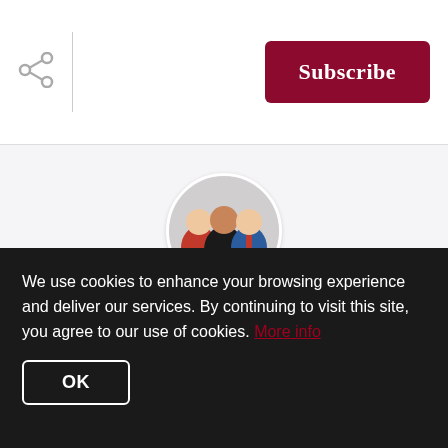[Figure (other): Share icon (three connected circles, gray)]
[Figure (other): Subscribe button, dark crimson/red background, white bold text reading 'Subscribe']
[Figure (photo): Circular profile photo of three real estate professionals: two men and one woman, dressed professionally, on a light gray card background]
The Edie Israel Team
The Edie Israel Team consists of real estate professionals Edie Israel, Jim Allen and John Israel...
Sep 4  |  4 minutes read
We use cookies to enhance your browsing experience and deliver our services. By continuing to visit this site, you agree to our use of cookies. More info
OK